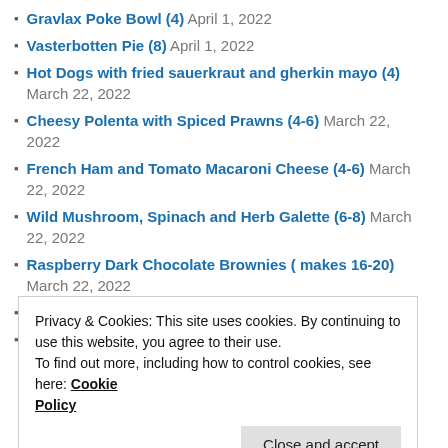Gravlax Poke Bowl (4) April 1, 2022
Vasterbotten Pie (8) April 1, 2022
Hot Dogs with fried sauerkraut and gherkin mayo (4) March 22, 2022
Cheesy Polenta with Spiced Prawns (4-6) March 22, 2022
French Ham and Tomato Macaroni Cheese (4-6) March 22, 2022
Wild Mushroom, Spinach and Herb Galette (6-8) March 22, 2022
Raspberry Dark Chocolate Brownies ( makes 16-20) March 22, 2022
Red Braised Pork with Eggs (2-4) March 22, 2022
Chocolate, Rye and Hazelnut Brownies ( makes 9) March 22, 2022
Privacy & Cookies: This site uses cookies. By continuing to use this website, you agree to their use.
To find out more, including how to control cookies, see here: Cookie Policy
Close and accept
March 21, 2022